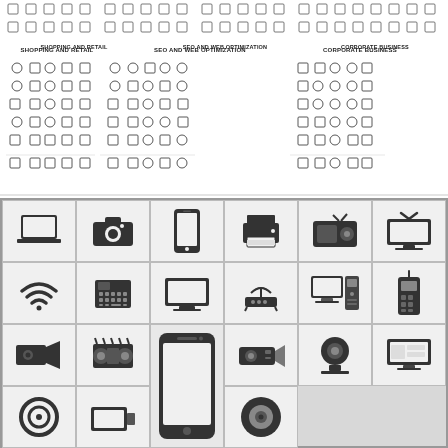[Figure (illustration): Grid of small outline icons for Shopping and Retail, SEO and Web Optimization, and Corporate Business categories with labels underneath each icon]
SHOPPING AND RETAIL
SEO AND WEB OPTIMIZATION
CORPORATE BUSINESS
[Figure (illustration): Grid of large filled/solid technology and device icons including laptop, camera, smartphone, printer, radio, TV, wifi, telephone, monitor, router, desktop computer, walkie-talkie, video camera, film camera, large smartphone, projector, webcam, and more device icons arranged in a 6-column grid with gray background]